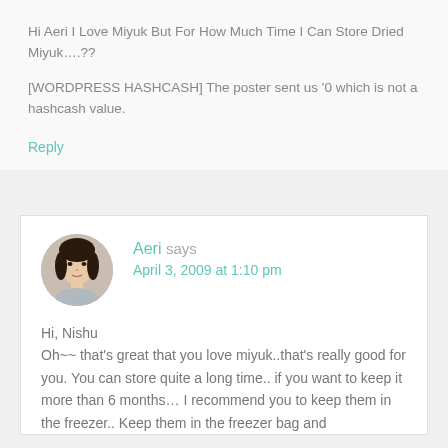Hi Aeri I Love Miyuk But For How Much Time I Can Store Dried Miyuk….??
[WORDPRESS HASHCASH] The poster sent us '0 which is not a hashcash value.
Reply
Aeri says
April 3, 2009 at 1:10 pm
Hi, Nishu
Oh~~ that's great that you love miyuk..that's really good for you. You can store quite a long time.. if you want to keep it more than 6 months… I recommend you to keep them in the freezer.. Keep them in the freezer bag and